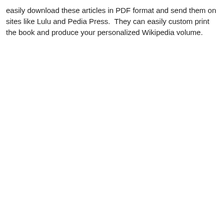easily download these articles in PDF format and send them on sites like Lulu and Pedia Press.  They can easily custom print the book and produce your personalized Wikipedia volume.